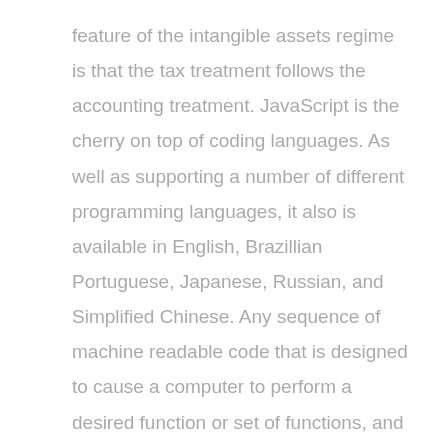feature of the intangible assets regime is that the tax treatment follows the accounting treatment. JavaScript is the cherry on top of coding languages. As well as supporting a number of different programming languages, it also is available in English, Brazillian Portuguese, Japanese, Russian, and Simplified Chinese. Any sequence of machine readable code that is designed to cause a computer to perform a desired function or set of functions, and the documentation required to describe and maintain that program or routine. There are many free web development IDE and code proofreader out there and you might need to know which may fit better to my prerequisites.